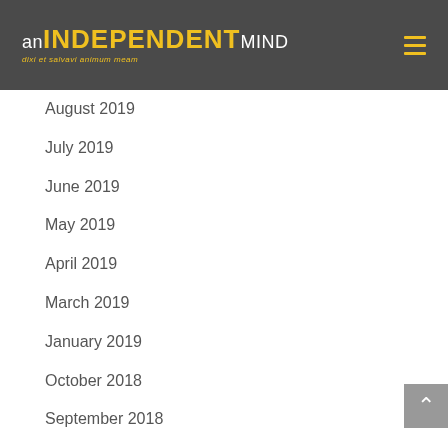AN INDEPENDENT MIND — dixi et salvavi animum meam
August 2019
July 2019
June 2019
May 2019
April 2019
March 2019
January 2019
October 2018
September 2018
August 2018
July 2018
June 2018
May 2018
April 2018